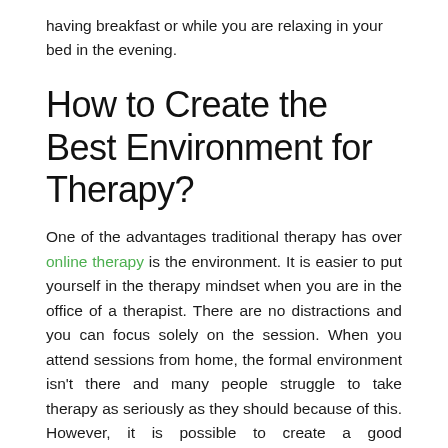having breakfast or while you are relaxing in your bed in the evening.
How to Create the Best Environment for Therapy?
One of the advantages traditional therapy has over online therapy is the environment. It is easier to put yourself in the therapy mindset when you are in the office of a therapist. There are no distractions and you can focus solely on the session. When you attend sessions from home, the formal environment isn't there and many people struggle to take therapy as seriously as they should because of this. However, it is possible to create a good environment in your home as well. Here's a look at how you can do that: